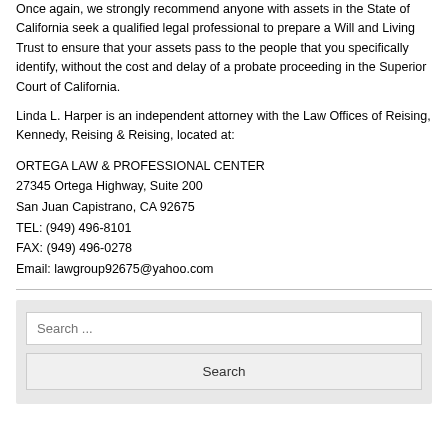Once again, we strongly recommend anyone with assets in the State of California seek a qualified legal professional to prepare a Will and Living Trust to ensure that your assets pass to the people that you specifically identify, without the cost and delay of a probate proceeding in the Superior Court of California.
Linda L. Harper is an independent attorney with the Law Offices of Reising, Kennedy, Reising & Reising, located at:
ORTEGA LAW & PROFESSIONAL CENTER
27345 Ortega Highway, Suite 200
San Juan Capistrano, CA 92675
TEL: (949) 496-8101
FAX: (949) 496-0278
Email: lawgroup92675@yahoo.com
[Figure (other): Search widget with a text input labeled 'Search ...' and a Search button]